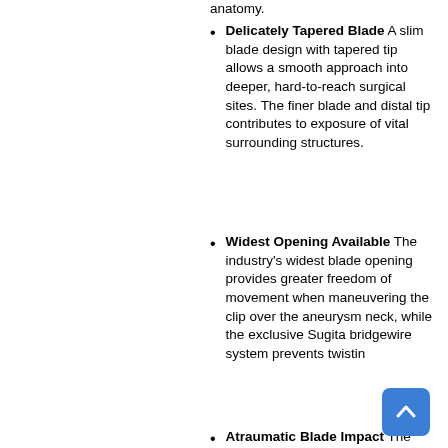anatomy.
Delicately Tapered Blade A slim blade design with tapered tip allows a smooth approach into deeper, hard-to-reach surgical sites. The finer blade and distal tip contributes to exposure of vital surrounding structures.
Widest Opening Available The industry's widest blade opening provides greater freedom of movement when maneuvering the clip over the aneurysm neck, while the exclusive Sugita bridgewire system prevents twistin...
Atraumatic Blade Impact The...